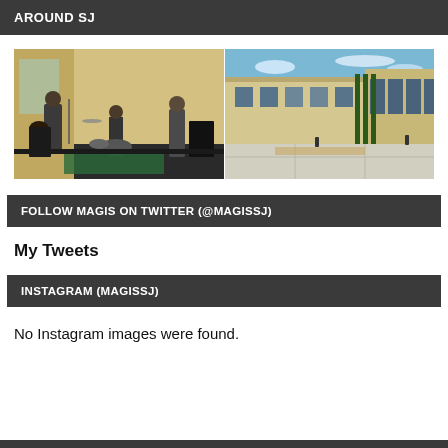AROUND SJ
[Figure (photo): Two side-by-side photos: left shows a band performing with guitarists and a drummer on an outdoor stage; right shows a modern school building exterior courtyard on a sunny day.]
FOLLOW MAGIS ON TWITTER (@MAGISSJ)
My Tweets
INSTAGRAM (MAGISSJ)
No Instagram images were found.